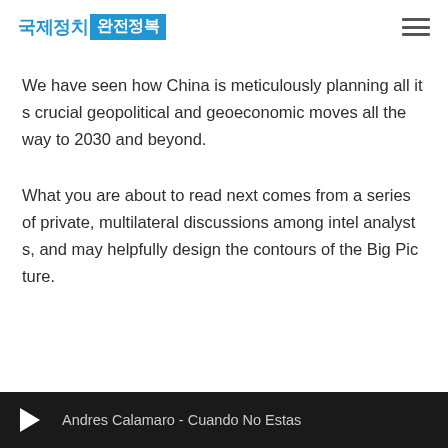국제정치 완전정복
We have seen how China is meticulously planning all its crucial geopolitical and geoeconomic moves all the way to 2030 and beyond.
What you are about to read next comes from a series of private, multilateral discussions among intel analysts, and may helpfully design the contours of the Big Picture.
Andres Calamaro - Cuando No Estas